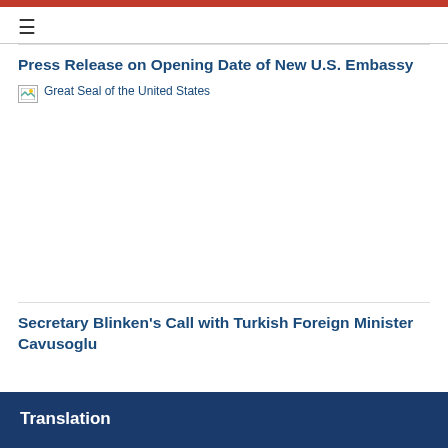≡
Press Release on Opening Date of New U.S. Embassy
[Figure (photo): Broken image placeholder labeled 'Great Seal of the United States']
Secretary Blinken's Call with Turkish Foreign Minister Cavusoglu
Translation